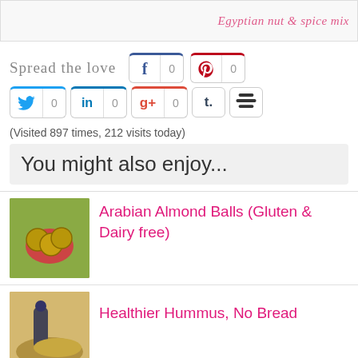[Figure (photo): Top banner image with decorative elements and cursive text 'Egyptian nut & spice mix']
Spread the love
[Figure (screenshot): Social sharing buttons: Facebook (0), Pinterest (0), Twitter (0), LinkedIn (0), Google+ (0), Tumblr, Buffer]
(Visited 897 times, 212 visits today)
You might also enjoy...
Arabian Almond Balls (Gluten & Dairy free)
Healthier Hummus, No Bread
Harissa: Arabic Semolina Cake (a healthier version)